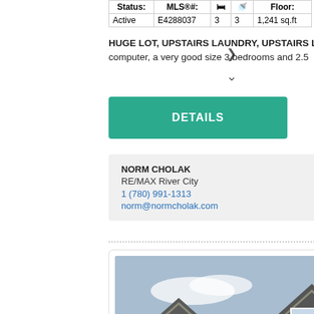| Status: | MLS®#: | 🛏 | 🚿 | Floor: |
| --- | --- | --- | --- | --- |
| Active | E4288037 | 3 | 3 | 1,241 sq.ft |
HUGE LOT, UPSTAIRS LAUNDRY, UPSTAIRS LOFT for computer, a very good size 3 bedrooms and 2.5
DETAILS
MORE...
NORM CHOLAK
RE/MAX River City
1 (780) 991-1313
norm@normcholak.com
[Figure (photo): Exterior photo of a two-storey townhouse complex with multiple garage doors, grey siding and stone accents, green lawn, blue sky]